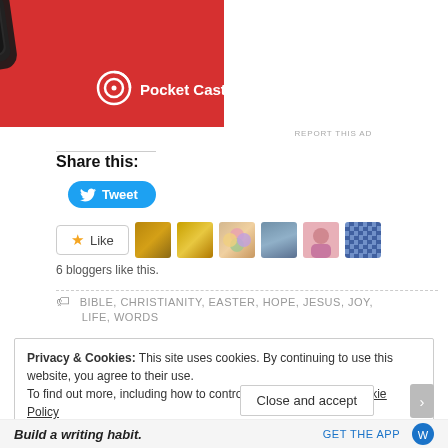[Figure (screenshot): Pocket Casts app advertisement with red background showing a smartwatch device and Pocket Casts logo with white text]
REPORT THIS AD
Share this:
[Figure (screenshot): Blue Twitter Tweet button with bird icon]
[Figure (screenshot): Like button with star icon and 6 blogger avatar thumbnails]
6 bloggers like this.
BIBLE, CHRISTIANITY, EASTER, HOPE, JESUS, JOY, LIFE, WORDS
Privacy & Cookies: This site uses cookies. By continuing to use this website, you agree to their use.
To find out more, including how to control cookies, see here: Cookie Policy
[Figure (screenshot): Close and accept button]
Build a writing habit.